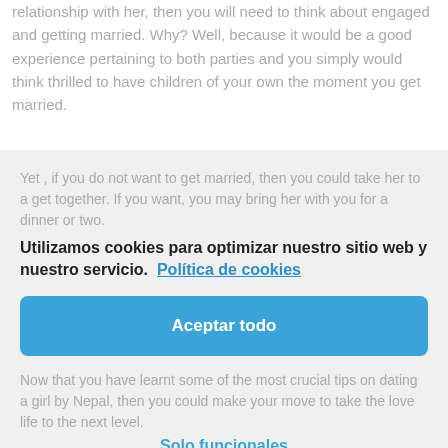relationship with her, then you will need to think about engaged and getting married. Why? Well, because it would be a good experience pertaining to both parties and you simply would think thrilled to have children of your own the moment you get married.
Utilizamos cookies para optimizar nuestro sitio web y nuestro servicio.  Política de cookies
Yet , if you do not want to get married, then you could take her to a get together. If you want, you may bring her with you for a dinner or two.
Aceptar todo
Now that you have learnt some of the most crucial tips on dating a girl by Nepal, then you could make your move to take the love life to the next level.
Solo funcionales
Therefore get out Now and do this.
Ver preferencias
Remember, you may never go wrong when you are trying to find a lady from Nepal. Just make sure that you know the best locations to meet ladies from her